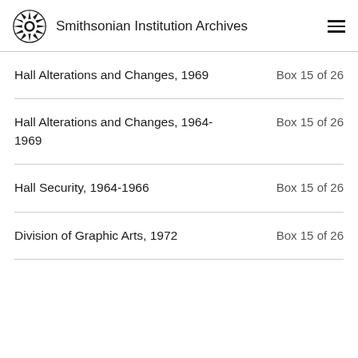Smithsonian Institution Archives
Hall Alterations and Changes, 1969 — Box 15 of 26
Hall Alterations and Changes, 1964-1969 — Box 15 of 26
Hall Security, 1964-1966 — Box 15 of 26
Division of Graphic Arts, 1972 — Box 15 of 26